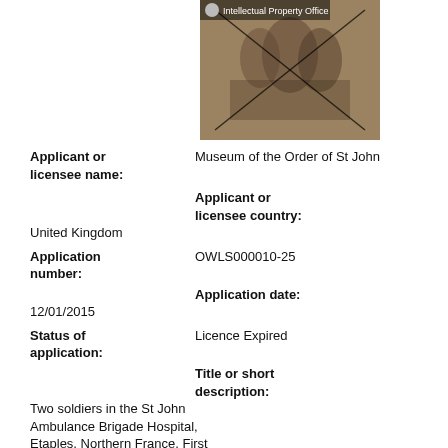[Figure (photo): Sepia photograph with an X watermark, showing soldiers in a hospital setting. An Intellectual Property Office logo/watermark appears in the top-left corner of the image.]
Applicant or licensee name:
Museum of the Order of St John
Applicant or licensee country:
United Kingdom
Application number:
OWLS000010-25
Application date:
12/01/2015
Status of application:
Licence Expired
Title or short description:
Two soldiers in the St John Ambulance Brigade Hospital, Etaples, Northern France, First World War
Full description:
Black and white First World War photograph showing two soldiers